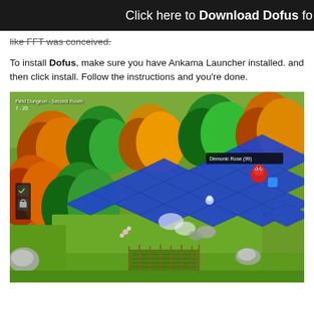Click here to Download Dofus fo
like FFT was conceived.
To install Dofus, make sure you have Ankama Launcher installed. and then click install. Follow the instructions and you're done.
[Figure (screenshot): Screenshot of the Dofus game showing an isometric field dungeon - Second Room (7-25), with colorful trees, a blue diamond-grid battle map, and a Demonic Rose (99) enemy tooltip visible. A small HUD panel with checkmark and lock icons is on the left side.]